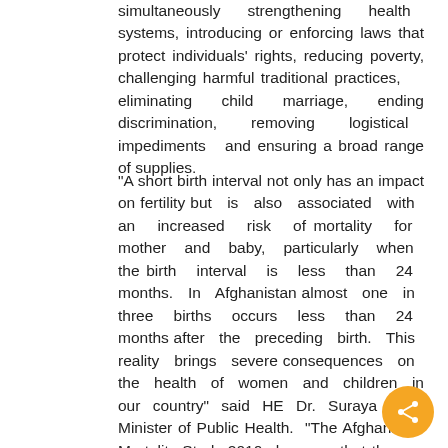simultaneously strengthening health systems, introducing or enforcing laws that protect individuals' rights, reducing poverty, challenging harmful traditional practices, eliminating child marriage, ending discrimination, removing logistical impediments and ensuring a broad range of supplies.
"A short birth interval not only has an impact on fertility but is also associated with an increased risk of mortality for mother and baby, particularly when the birth interval is less than 24 months. In Afghanistan almost one in three births occurs less than 24 months after the preceding birth. This reality brings severe consequences on the health of women and children in our country" said HE Dr. Suraya Dalil, Minister of Public Health. "The Afghanistan Mortality Study 2010 shows us that the use of modern family planning methods has doubled from 10 percent in 2003 to 22 percent but much more needs to be done to assure reproductive health right to all women in Afghanistan. The Government has set itself the target of increasing th Contraceptive Prevalence Rate to 40% by 2016", adde